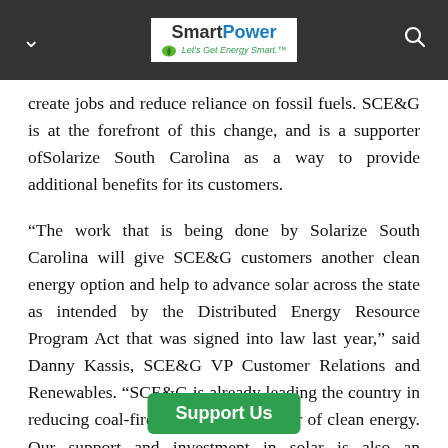SmartPower – Let's Get Energy Smart
create jobs and reduce reliance on fossil fuels. SCE&G is at the forefront of this change, and is a supporter ofSolarize South Carolina as a way to provide additional benefits for its customers.
“The work that is being done by Solarize South Carolina will give SCE&G customers another clean energy option and help to advance solar across the state as intended by the Distributed Energy Resource Program Act that was signed into law last year,” said Danny Kassis, SCE&G VP Customer Relations and Renewables. “SCE&G is already leading the country in reducing coal-fired generation in favor of clean energy. Our support and investment in solar is also an import effort to create a
Support Us